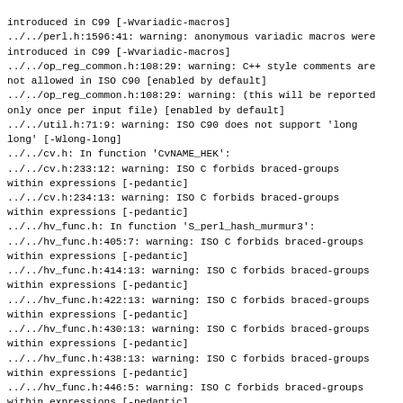introduced in C99 [-Wvariadic-macros]
../../perl.h:1596:41: warning: anonymous variadic macros were introduced in C99 [-Wvariadic-macros]
../../op_reg_common.h:108:29: warning: C++ style comments are not allowed in ISO C90 [enabled by default]
../../op_reg_common.h:108:29: warning: (this will be reported only once per input file) [enabled by default]
../../util.h:71:9: warning: ISO C90 does not support 'long long' [-Wlong-long]
../../cv.h: In function 'CvNAME_HEK':
../../cv.h:233:12: warning: ISO C forbids braced-groups within expressions [-pedantic]
../../cv.h:234:13: warning: ISO C forbids braced-groups within expressions [-pedantic]
../../hv_func.h: In function 'S_perl_hash_murmur3':
../../hv_func.h:405:7: warning: ISO C forbids braced-groups within expressions [-pedantic]
../../hv_func.h:414:13: warning: ISO C forbids braced-groups within expressions [-pedantic]
../../hv_func.h:422:13: warning: ISO C forbids braced-groups within expressions [-pedantic]
../../hv_func.h:430:13: warning: ISO C forbids braced-groups within expressions [-pedantic]
../../hv_func.h:438:13: warning: ISO C forbids braced-groups within expressions [-pedantic]
../../hv_func.h:446:5: warning: ISO C forbids braced-groups within expressions [-pedantic]
../../inline.h: In function 'S_av_top_index':
../../inline.h:23:12: warning: ISO C forbids braced-groups within expressions [-pedantic]
../../inline.h: In function 'S_CvGV':
../../inline.h:31:12: warning: ISO C forbids braced-groups